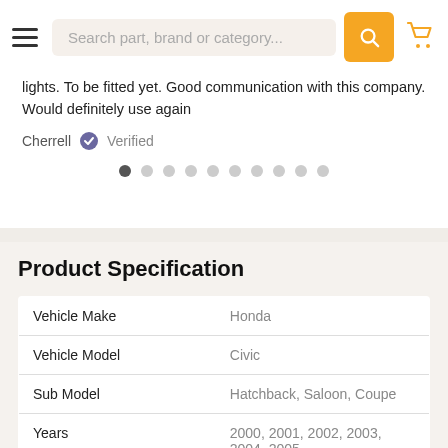Search part, brand or category...
lights. To be fitted yet. Good communication with this company. Would definitely use again
Cherrell  Verified
Product Specification
|  |  |
| --- | --- |
| Vehicle Make | Honda |
| Vehicle Model | Civic |
| Sub Model | Hatchback, Saloon, Coupe |
| Years | 2000, 2001, 2002, 2003, 2004, 2005 |
| O.E Number | o_e_number |